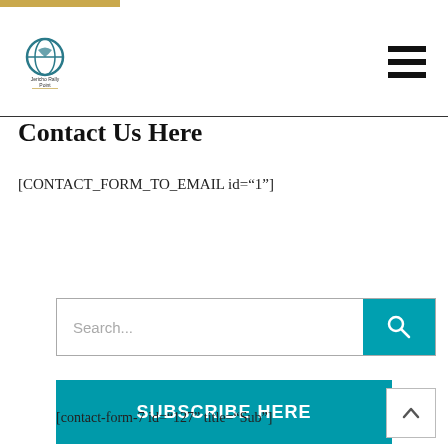[Figure (logo): Jericho Rally Point logo with circular icon and text]
Contact Us Here
[CONTACT_FORM_TO_EMAIL id="1"]
[Figure (screenshot): Search bar with teal search button and magnifying glass icon]
[Figure (screenshot): SUBSCRIBE HERE teal button]
[contact-form-7 id="127" title="Sub"]